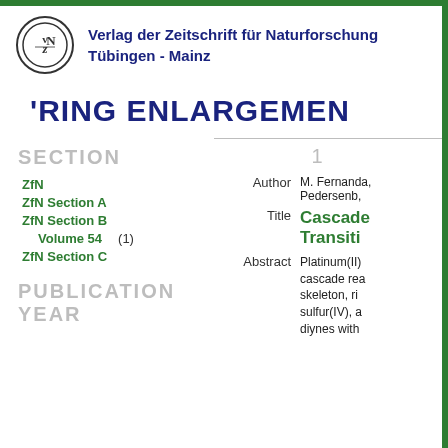[Figure (logo): Verlag der Zeitschrift für Naturforschung logo — circular emblem with VzN initials]
Verlag der Zeitschrift für Naturforschung Tübingen - Mainz
'RING ENLARGEMEN
SECTION
ZfN
ZfN Section A
ZfN Section B
Volume 54   (1)
ZfN Section C
PUBLICATION YEAR
1
Author   M. Fernanda, Pedersenb,
Title   Cascade Transiti
Abstract   Platinum(II) cascade rea skeleton, ri sulfur(IV), a diynes with